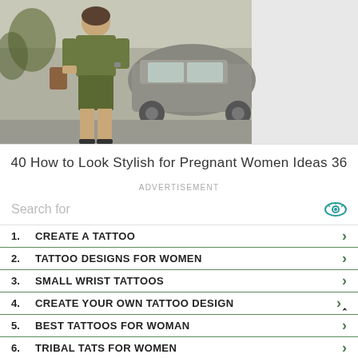[Figure (photo): Woman in olive green outfit (top and shorts/skirt) carrying a brown handbag, standing near cars on a street]
40 How to Look Stylish for Pregnant Women Ideas 36
ADVERTISEMENT
Search for
1. CREATE A TATTOO
2. TATTOO DESIGNS FOR WOMEN
3. SMALL WRIST TATTOOS
4. CREATE YOUR OWN TATTOO DESIGN
5. BEST TATTOOS FOR WOMAN
6. TRIBAL TATS FOR WOMEN